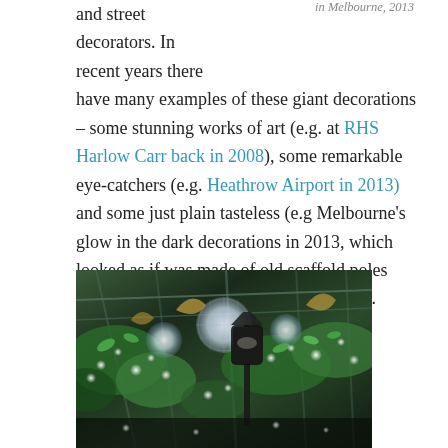in Melbourne, 2013
and street decorators. In recent years there have many examples of these giant decorations – some stunning works of art (e.g. at RHS Harlow Carr back in 2008), some remarkable eye-catchers (e.g. Heathrow Airport in 2013) and some just plain tasteless (e.g Melbourne's glow in the dark decorations in 2013, which looked as if was made of old scaffold poles and left-over street lamps – see pic right).
[Figure (photo): Photo of elaborate Christmas/festive decorations with glowing orbs, green foliage, street lamps, and metallic ornaments indoors under an arched glass structure, resembling Covent Garden or similar market hall.]